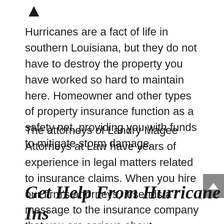↑
Hurricanes are a fact of life in southern Louisiana, but they do not have to destroy the property you have worked so hard to maintain here. Homeowner and other types of property insurance function as a safety net, providing you with funds to mitigate storm damage.
The attorneys of Landry Magee Attorneys at Law have years of experience in legal matters related to insurance claims. When you hire our firm's attorneys, it sends a message to the insurance company that you are serious about maximizing your claim.
Get Help From Hurricane Ins...